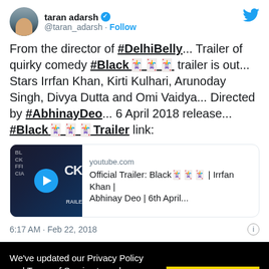taran adarsh @taran_adarsh · Follow
From the director of #DelhiBelly... Trailer of quirky comedy #Black🃏🃏🃏 trailer is out... Stars Irrfan Khan, Kirti Kulhari, Arunoday Singh, Divya Dutta and Omi Vaidya... Directed by #AbhinayDeo... 6 April 2018 release... #Black🃏🃏🃏Trailer link:
[Figure (screenshot): YouTube link card showing thumbnail of Black trailer video with play button, domain youtube.com, title 'Official Trailer: Black🃏🃏🃏 | Irrfan Khan | Abhinay Deo | 6th April...']
6:17 AM · Feb 22, 2018
We've updated our Privacy Policy and Terms of Service to make sure the usage of users data in a more clearer way. Click "Okay, I
Okay, I Understand
Shares